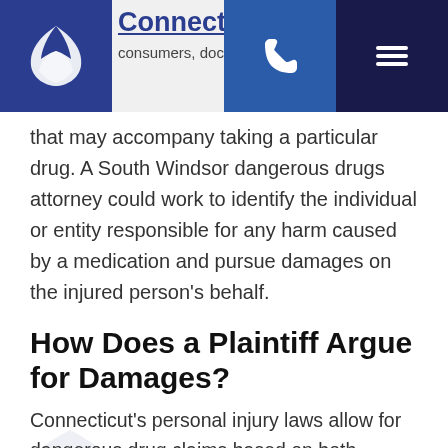Connecticut | [phone] [menu]
that may accompany taking a particular drug. A South Windsor dangerous drugs attorney could work to identify the individual or entity responsible for any harm caused by a medication and pursue damages on the injured person's behalf.
How Does a Plaintiff Argue for Damages?
Connecticut's personal injury laws allow for dangerous drug claims based on both negligence and strict liability for a defective product. In evaluating a defendant's liability, courts may consider consumer expectations, manufacturing defects, and whether there has been a